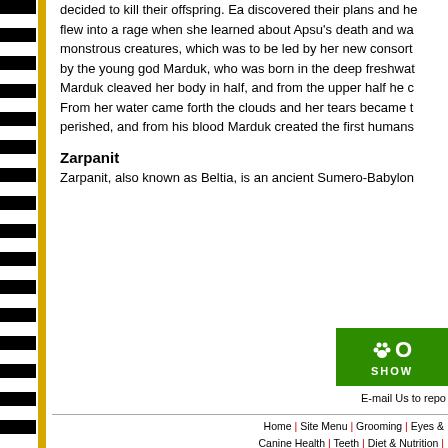decided to kill their offspring. Ea discovered their plans and he flew into a rage when she learned about Apsu's death and wa monstrous creatures, which was to be led by her new consort by the young god Marduk, who was born in the deep freshwat Marduk cleaved her body in half, and from the upper half he c From her water came forth the clouds and her tears became t perished, and from his blood Marduk created the first humans
Zarpanit
Zarpanit, also known as Beltia, is an ancient Sumero-Babylon
[Figure (logo): Green banner with paw print icon and text 'O SHOW']
E-mail Us to repo
Home | Site Menu | Grooming | Eyes & Canine Health | Teeth | Diet & Nutrition | Diseases & Defects | Ticks & Gremlins |